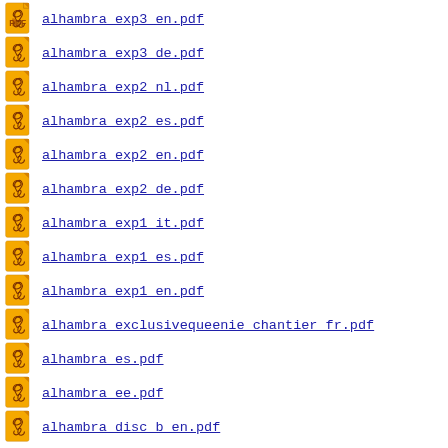alhambra_exp3_en.pdf
alhambra_exp3_de.pdf
alhambra_exp2_nl.pdf
alhambra_exp2_es.pdf
alhambra_exp2_en.pdf
alhambra_exp2_de.pdf
alhambra_exp1_it.pdf
alhambra_exp1_es.pdf
alhambra_exp1_en.pdf
alhambra_exclusivequeenie_chantier_fr.pdf
alhambra_es.pdf
alhambra_ee.pdf
alhambra_disc_b_en.pdf